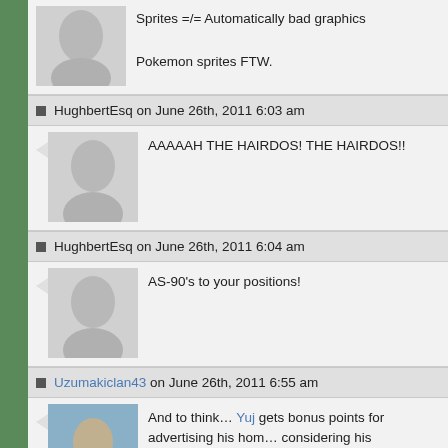Sprites =/= Automatically bad graphics

Pokemon sprites FTW.
HughbertEsq on June 26th, 2011 6:03 am
AAAAAH THE HAIRDOS! THE HAIRDOS!!
HughbertEsq on June 26th, 2011 6:04 am
AS-90's to your positions!
Uzumakiclan43 on June 26th, 2011 6:55 am
And to think… Yuj gets bonus points for advertising his home considering his unique hairstyle!
Doctor Rover on June 26th, 2011 9:51 am